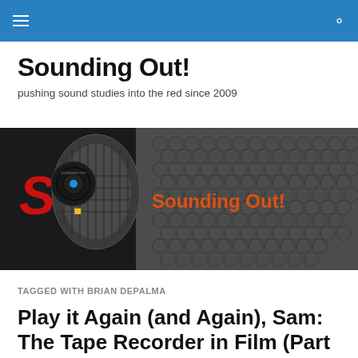≡  🔍
Sounding Out!
pushing sound studies into the red since 2009
[Figure (photo): Banner image with dark background showing close-up of a microphone mesh, with the Sounding Out! logo (red S, yellow !, vinyl record with blue dot) on the left and 'Sounding Out!' text in orange-red on the right.]
TAGGED WITH BRIAN DEPALMA
Play it Again (and Again), Sam: The Tape Recorder in Film (Part Three on the 1980s)